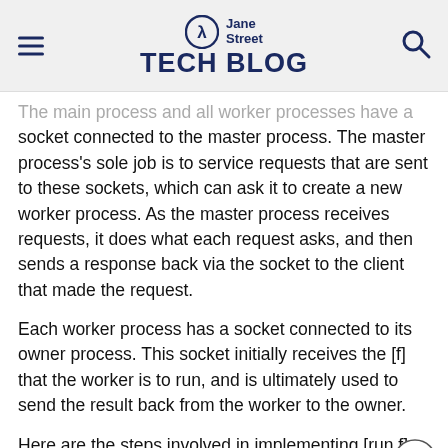Jane Street TECH BLOG
The main process and all worker processes have a socket connected to the master process. The master process's sole job is to service requests that are sent to these sockets, which can ask it to create a new worker process. As the master process receives requests, it does what each request asks, and then sends a response back via the socket to the client that made the request.
Each worker process has a socket connected to its owner process. This socket initially receives the [f] that the worker is to run, and is ultimately used to send the result back from the worker to the owner.
Here are the steps involved in implementing [run f]. There are three processes involved.